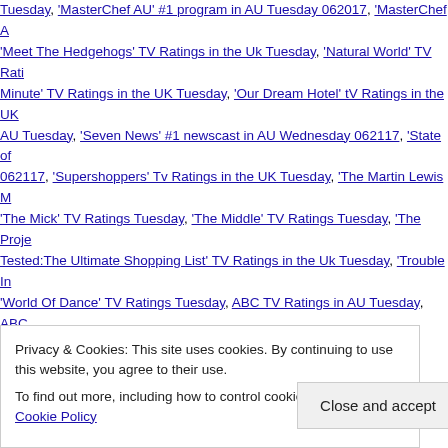Tuesday, 'MasterChef AU' #1 program in AU Tuesday 062017, 'MasterChef AU, 'Meet The Hedgehogs' TV Ratings in the Uk Tuesday, 'Natural World' TV Ratings... Minute' TV Ratings in the UK Tuesday, 'Our Dream Hotel' tV Ratings in the UK... AU Tuesday, 'Seven News' #1 newscast in AU Wednesday 062117, 'State of... 062117, 'Supershoppers' Tv Ratings in the UK Tuesday, 'The Martin Lewis M... 'The Mick' TV Ratings Tuesday, 'The Middle' TV Ratings Tuesday, 'The Project... Tested:The Ultimate Shopping List' TV Ratings in the Uk Tuesday, 'Trouble In... 'World Of Dance' TV Ratings Tuesday, ABC TV Ratings in AU Tuesday, ABC... Ratings Tuesday, America's Got Talent TV Ratings Tuesday, BBC 2 #1 broadcast... BBC One TV Ratings in the UK Tuesday, BBC Two TV Ratings in the UK Tuesday... Tuesday, CBS TV Ratings Tuesday, Channel 4 TV Ratings in the UK Tuesday... CNA|SOPHIS, FOX TV Ratings Tuesday, Fresh Off The Boat TV Ratings Tuesday... Tuesday, ITV 2 TV Ratings in the Uk Tuesday, ITV TV Ratings in the UK Tuesday... Hanish, NBC #1 Tuesday 062017, NBC TV Ratings Tuesday, NCIS TV Ratings Tuesday... Tuesday, Nine #1 broadcast network in AU Wednesday 062117, Nine Tv Ratings Wednesday, SBS TV Ratings in AU Tuesday, SBS TV Ratings in AU Wednesday, Seven TV Ratings Wednesday in AU, TEL TV Ratings Tuesday, Ten #1 in AU Tuesday, Ten TV Ratings in AU Wednesday, The CW TV Ratings Tuesday, TH...
Privacy & Cookies: This site uses cookies. By continuing to use this website, you agree to their use.
To find out more, including how to control cookies, see here: Our Cookie Policy